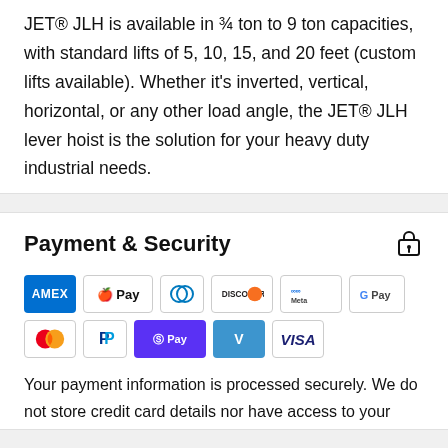JET® JLH is available in ¾ ton to 9 ton capacities, with standard lifts of 5, 10, 15, and 20 feet (custom lifts available). Whether it's inverted, vertical, horizontal, or any other load angle, the JET® JLH lever hoist is the solution for your heavy duty industrial needs.
Payment & Security
[Figure (logo): Payment method logos: American Express, Apple Pay, Diners Club, Discover, Meta Pay, Google Pay, Mastercard, PayPal, Shop Pay, Venmo, Visa]
Your payment information is processed securely. We do not store credit card details nor have access to your credit card information.